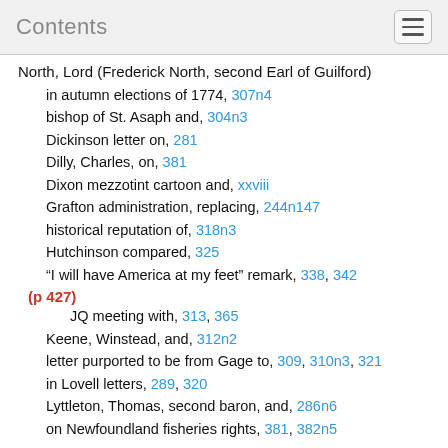Contents
North, Lord (Frederick North, second Earl of Guilford)
in autumn elections of 1774, 307n4
bishop of St. Asaph and, 304n3
Dickinson letter on, 281
Dilly, Charles, on, 381
Dixon mezzotint cartoon and, xxviii
Grafton administration, replacing, 244n147
historical reputation of, 318n3
Hutchinson compared, 325
“I will have America at my feet” remark, 338, 342
(p 427)
JQ meeting with, 313, 365
Keene, Winstead, and, 312n2
letter purported to be from Gage to, 309, 310n3, 321
in Lovell letters, 289, 320
Lyttleton, Thomas, second baron, and, 286n6
on Newfoundland fisheries rights, 381, 382n5